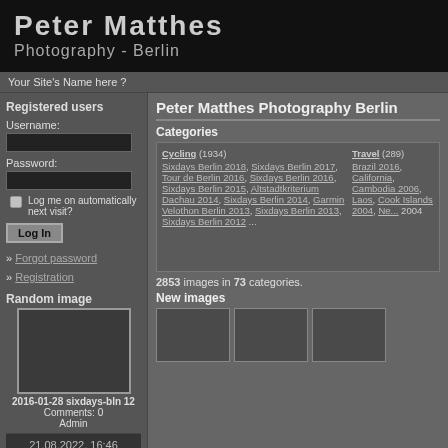Peter Matthes Photography - Berlin
Your Site's Name here ?
Registered users
Username:
Password:
Log me on automatically next visit?
Log In
» Forgot password
» Registration
Random image
[Figure (photo): Random image placeholder box]
2016-01-28 sixdays-bln 12
Comments: 0
Admin
21.08.2022, 16:46
Peter Matthes Photography Berlin
Categories
Cycling (1934)
Sixdays Berlin 2018, Sixdays Berlin 2017, Tour de Berlin 2016, Sixdays Berlin 2016, Sixdays Berlin 2015, Altstadtkriterium Dachau 2014, Sixdays Berlin 2014, Garmin Velothon Berlin 2013, Sixdays Berlin 2013, Sixdays Berlin 2012 ...
Travel (289)
Brazil 2016, California, Cambodia 2006, Laos, Cook Islands 2004, Ne... 2004
2853 images in 73 categories.
New images
[Figure (photo): New images thumbnails row]